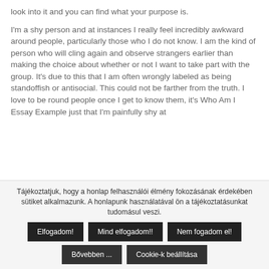look into it and you can find what your purpose is.

I'm a shy person and at instances I really feel incredibly awkward around people, particularly those who I do not know. I am the kind of person who will cling again and observe strangers earlier than making the choice about whether or not I want to take part with the group. It's due to this that I am often wrongly labeled as being standoffish or antisocial. This could not be farther from the truth. I love to be round people once I get to know them, it's Who Am I Essay Example just that I'm painfully shy at
Tájékoztatjuk, hogy a honlap felhasználói élmény fokozásának érdekében sütiket alkalmazunk. A honlapunk használatával ön a tájékoztatásunkat tudomásul veszi.
Elfogadom!
Mind elfogadom!!
Nem fogadom el!
Bővebben ...
Cookie-k beállítása